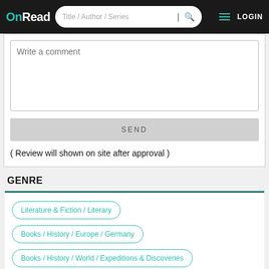OnRead — Title / Author / Series — LOGIN
Write a comment
SEND
( Review will shown on site after approval )
GENRE
Literature & Fiction / Literary
Books / History / Europe / Germany
Books / History / World / Expeditions & Discoveries
Nonfiction / Philosophy / General